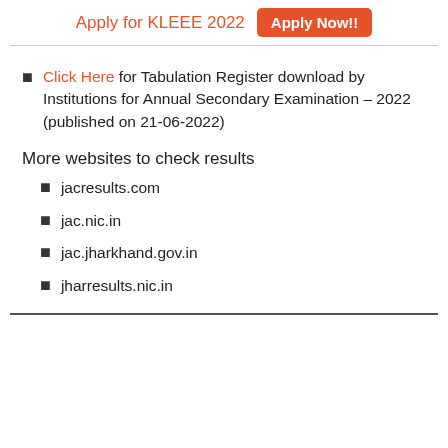Apply for KLEEE 2022  Apply Now!!
Click Here for Tabulation Register download by Institutions for Annual Secondary Examination – 2022 (published on 21-06-2022)
More websites to check results
jacresults.com
jac.nic.in
jac.jharkhand.gov.in
jharresults.nic.in